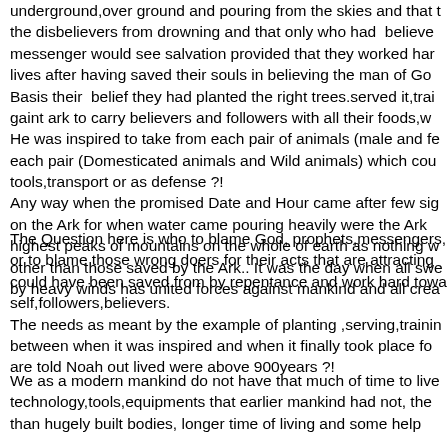underground,over ground and pouring from the skies and that the disbelievers from drowning and that only who had believed messenger would see salvation provided that they worked hard lives after having saved their souls in believing the man of God Basis their belief they had planted the right trees.served it,trained a gaint ark to carry believers and followers with all their foods,water. He was inspired to take from each pair of animals (male and female) each pair (Domesticated animals and Wild animals) which could be tools,transport or as defense ?! Any way when the promised Date and Hour came after few signs on the Ark for when water came pouring heavily were the Ark above highest peaks of mountains on the whole of earth as nothing was saved other than those saved by the Ark.. It was the day when all swept away by heavy winds has united forces against mankind and all creatures.
The Question here is who to blame God, prophets,messengers, or to blame those wrong doers for their acts that are attracting and could have been saved from by repentance and work hard toward self,followers,believers. The needs as meant by the example of planting ,serving,training between when it was inspired and when it finally took place for we are told Noah out lived were above 900years ?!
We as a modern mankind do not have that much of time to live technology,tools,equipments that earlier mankind had not, the than hugely built bodies, longer time of living and some help